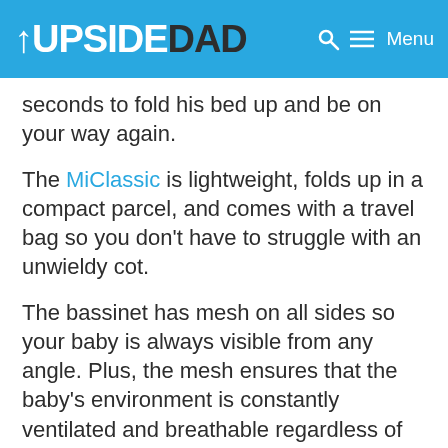UPSIDE DAD — Menu
seconds to fold his bed up and be on your way again.
The MiClassic is lightweight, folds up in a compact parcel, and comes with a travel bag so you don't have to struggle with an unwieldy cot.
The bassinet has mesh on all sides so your baby is always visible from any angle. Plus, the mesh ensures that the baby's environment is constantly ventilated and breathable regardless of